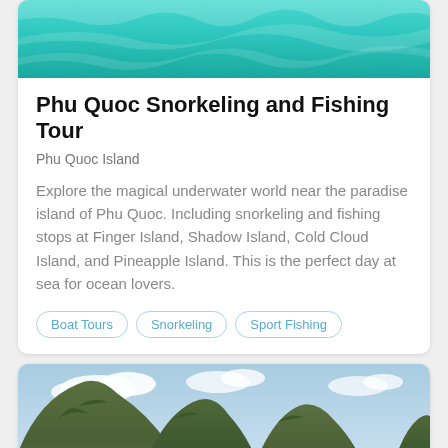[Figure (photo): Top cropped photo of turquoise ocean water]
Phu Quoc Snorkeling and Fishing Tour
Phu Quoc Island
Explore the magical underwater world near the paradise island of Phu Quoc. Including snorkeling and fishing stops at Finger Island, Shadow Island, Cold Cloud Island, and Pineapple Island. This is the perfect day at sea for ocean lovers.
Boat Tours
Snorkeling
Sport Fishing
[Figure (photo): Ha Long Bay karst limestone islands with junks on green water under blue sky]